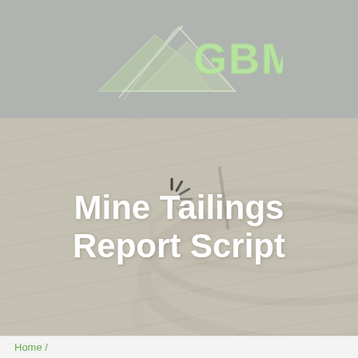[Figure (logo): GBM logo: mountain/triangle shape with 'GBM' text in light green on grey background]
[Figure (other): Light green navigation bar with hamburger menu icon on right]
Mine Tailings Report Script
Home /